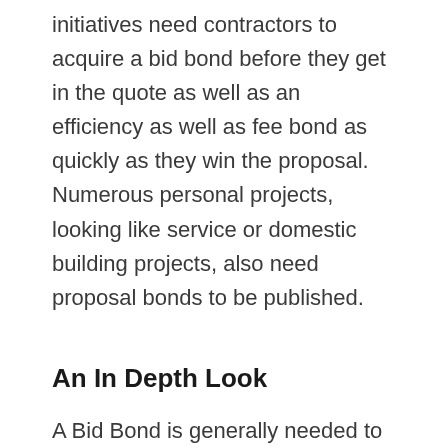initiatives need contractors to acquire a bid bond before they get in the quote as well as an efficiency as well as fee bond as quickly as they win the proposal. Numerous personal projects, looking like service or domestic building projects, also need proposal bonds to be published.
An In Depth Look
A Bid Bond is generally needed to confirm to a task owner which you can adhere to the proposal contract as well as accomplish the task as defined by the agreement. Issuing a bond to such a prospective buyer puts a large potential problem on the guaranty, if they trouble a performance and charge